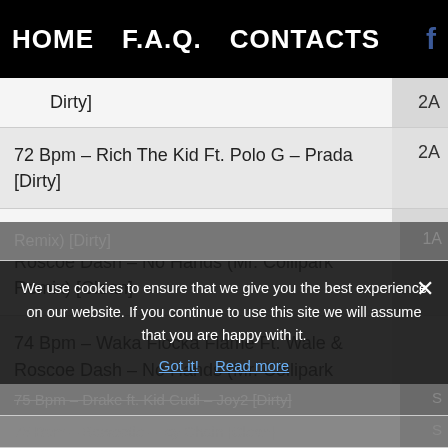HOME   F.A.Q.   CONTACTS   f
| Track |  |
| --- | --- |
| Dirty] | 2A |
| 72 Bpm – Rich The Kid Ft. Polo G – Prada [Dirty] | 2A |
| 74 Bpm – Waka Flocka Flame Ft. Wale & Roscoe Dash – No Hands (Mr. Collipark Remix) [Clean] | 1A |
| 74 Bpm – Waka Flocka Flame Ft. Wale & Roscoe Dash – No Hands (Mr. Collipark Remix) [Dirty] | 1A |
| 75 Bpm – Drake ft. Kid Cudi – Joy2 [Dirty] | S |
| 75 Bpm – Saweetie – Icy Chain [Clean] | S |
We use cookies to ensure that we give you the best experience on our website. If you continue to use this site we will assume that you are happy with it.
Got it!   Read more